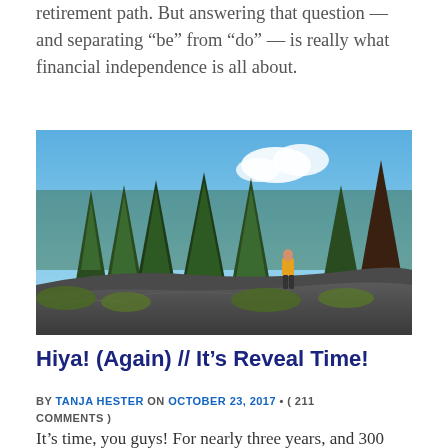retirement path. But answering that question — and separating “be” from “do” — is really what financial independence is all about.
[Figure (photo): A person standing on rocky terrain in a pine forest with blue sky, wearing a yellow jacket.]
Hiya! (Again) // It’s Reveal Time!
BY TANJA HESTER ON OCTOBER 23, 2017 • ( 211 COMMENTS )
It’s time, you guys! For nearly three years, and 300 posts, I’ve written as “Ms. ONL,” and referred